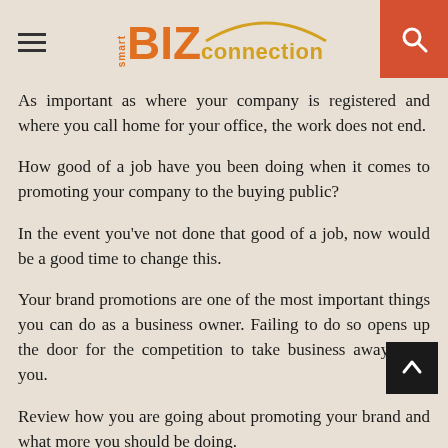smart BIZ Connection
As important as where your company is registered and where you call home for your office, the work does not end.
How good of a job have you been doing when it comes to promoting your company to the buying public?
In the event you've not done that good of a job, now would be a good time to change this.
Your brand promotions are one of the most important things you can do as a business owner. Failing to do so opens up the door for the competition to take business away from you.
Review how you are going about promoting your brand and what more you should be doing.